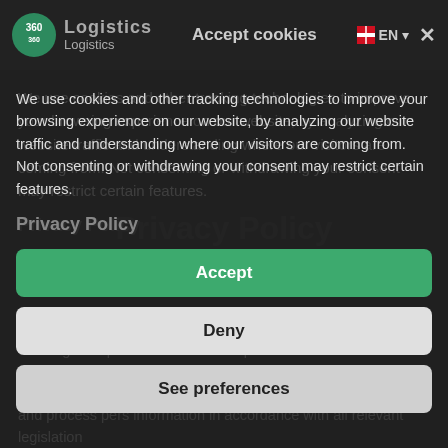360 Logistics — Accept cookies  EN  ×
We use cookies and other tracking technologies to improve your browsing experience on our website, by analyzing our website traffic and understanding where our visitors are coming from. Not consenting or withdrawing your consent may restrict certain features.
Privacy Policy
Accept
Deny
See preferences
360 Logistics provides services for professional clients. To provide our services to our customers, we need to process personal information. We value the privacy of all our customers, and process pers information in accordance with all relevant legislation